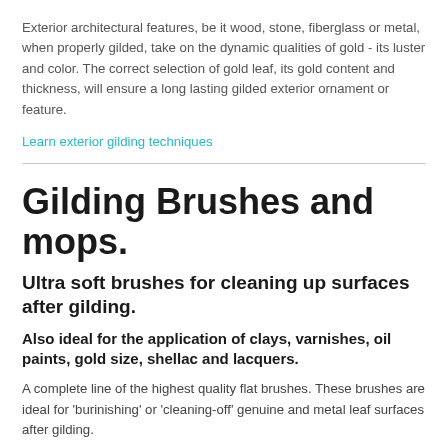Exterior architectural features, be it wood, stone, fiberglass or metal, when properly gilded, take on the dynamic qualities of gold - its luster and color. The correct selection of gold leaf, its gold content and thickness, will ensure a long lasting gilded exterior ornament or feature.
Learn exterior gilding techniques
Gilding Brushes and mops.
Ultra soft brushes for cleaning up surfaces after gilding.
Also ideal for the application of clays, varnishes, oil paints, gold size, shellac and lacquers.
A complete line of the highest quality flat brushes. These brushes are ideal for 'burinishing' or 'cleaning-off' genuine and metal leaf surfaces after gilding.
Especially soft hairs, our high quality Goat hair and Squirrel hair brushes do not scratch or dull the leaf surface when using a gentle hand. These brushes are made from a wide range of high quality